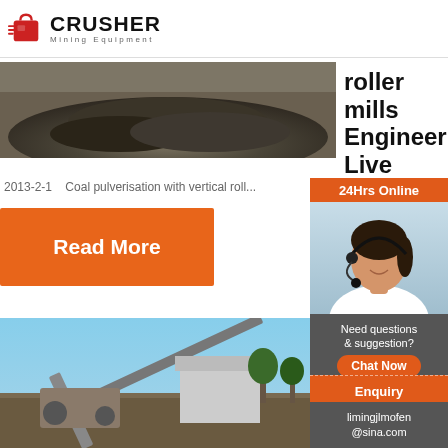[Figure (logo): Crusher Mining Equipment logo with red shopping bag icon and bold CRUSHER text]
[Figure (photo): Coal or mineral heap / pile, dark gravel material]
roller mills Engineer Live
2013-2-1   Coal pulverisation with vertical roll...
Read More
[Figure (photo): Mining conveyor equipment at an outdoor site with machinery and blue sky]
Coal Comp Valua Produ and Re...
24Hrs Online
[Figure (photo): Customer service agent woman with headset smiling]
Need questions & suggestion?
Chat Now
Enquiry
limingjlmofen@sina.com